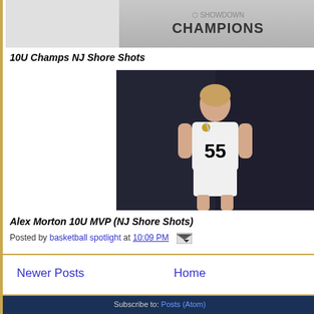[Figure (photo): Partial view of a youth basketball team in white 'Champions' uniforms, cropped at top of page]
10U Champs NJ Shore Shots
[Figure (photo): Young boy wearing jersey number 55 with a medal, standing in front of dark backdrop]
Alex Morton 10U MVP (NJ Shore Shots)
Posted by basketball spotlight at 10:09 PM
Newer Posts
Home
Subscribe to: Posts (Atom)